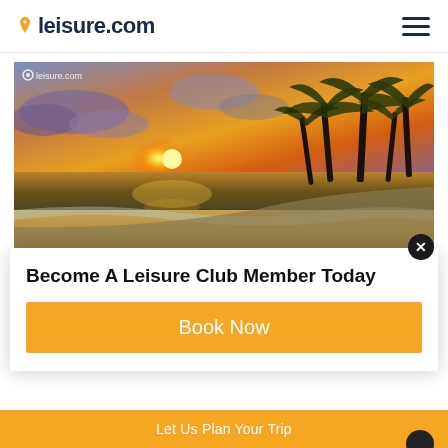leisure.com
[Figure (photo): Tropical beach sunset with palm trees on the right and golden light reflecting on wet sand. Watermark reads: leisure.com]
Become A Leisure Club Member Today
Book Now
Let Us Plan Your Trip